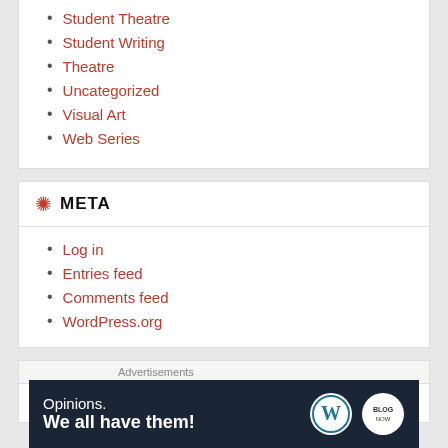Student Theatre
Student Writing
Theatre
Uncategorized
Visual Art
Web Series
META
Log in
Entries feed
Comments feed
WordPress.org
Advertisements
[Figure (screenshot): Advertisement banner with dark navy background. Text reads 'Opinions. We all have them!' with WordPress logo and blog.now logo on the right side.]